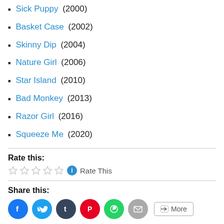Sick Puppy (2000)
Basket Case (2002)
Skinny Dip (2004)
Nature Girl (2006)
Star Island (2010)
Bad Monkey (2013)
Razor Girl (2016)
Squeeze Me (2020)
Rate this:
Rate This
Share this:
[Figure (infographic): Social share buttons: Facebook (blue), Twitter (light blue), Tumblr (dark blue), Pinterest (red), WhatsApp (green), Email (light gray), and a More button]